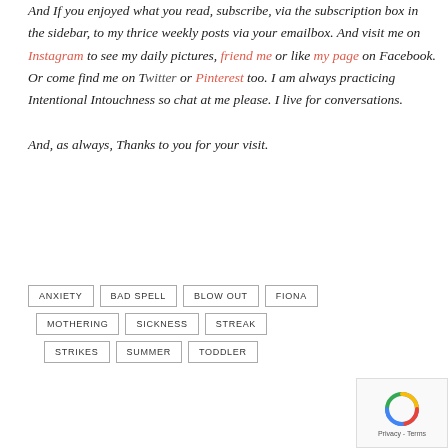And If you enjoyed what you read, subscribe, via the subscription box in the sidebar, to my thrice weekly posts via your emailbox. And visit me on Instagram to see my daily pictures, friend me or like my page on Facebook. Or come find me on Twitter or Pinterest too. I am always practicing Intentional Intouchness so chat at me please. I live for conversations.

And, as always, Thanks to you for your visit.
ANXIETY  BAD SPELL  BLOW OUT  FIONA  MOTHERING  SICKNESS  STREAK  STRIKES  SUMMER  TODDLER